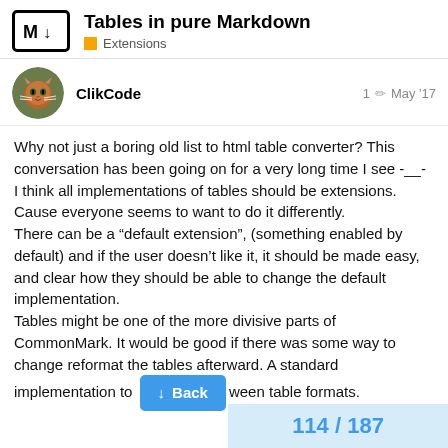Tables in pure Markdown — Extensions
ClikCode   1 ✏ May '17
Why not just a boring old list to html table converter? This conversation has been going on for a very long time I see -__-
I think all implementations of tables should be extensions. Cause everyone seems to want to do it differently.
There can be a “default extension”, (something enabled by default) and if the user doesn’t like it, it should be made easy, and clear how they should be able to change the default implementation.
Tables might be one of the more divisive parts of CommonMark. It would be good if there was some way to change reformat the tables afterward. A standard implementation to [Back] ween table formats.
114 / 187